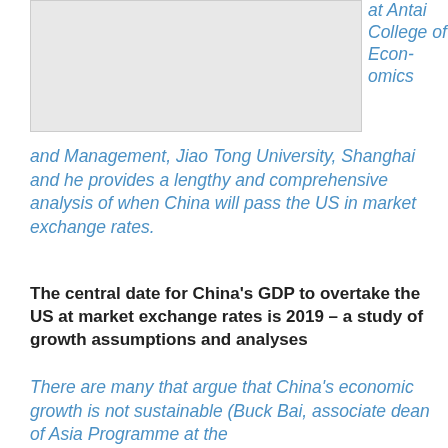[Figure (photo): Gray placeholder image in upper left area of page]
at Antai College of Economics and Management, Jiao Tong University, Shanghai and he provides a lengthy and comprehensive analysis of when China will pass the US in market exchange rates.
The central date for China's GDP to overtake the US at market exchange rates is 2019 – a study of growth assumptions and analyses
There are many that argue that China's economic growth is not sustainable (Buck Bai, associate dean of Asia Programme at the